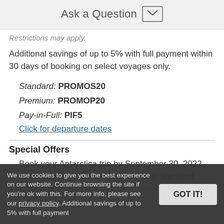Ask a Question
Restrictions may apply.
Additional savings of up to 5% with full payment within 30 days of booking on select voyages only.
Standard: PROMOS20
Premium: PROMOP20
Pay-in-Full: PIF5
Click for departure dates
Special Offers
Book your Antarctica trip by September 30, 2022, and enjoy special savings of 10% for Standard Cabins and 10% on Premium Cabins
We use cookies to give you the best experience on our website. Continue browsing the site if you're ok with this. For more info, please see our privacy policy. Additional savings of up to 5% with full payment